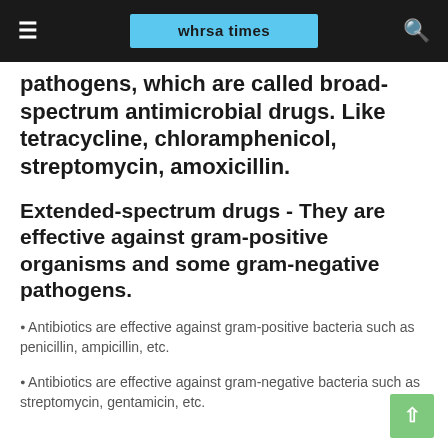whrsa times
pathogens, which are called broad-spectrum antimicrobial drugs. Like tetracycline, chloramphenicol, streptomycin, amoxicillin.
Extended-spectrum drugs - They are effective against gram-positive organisms and some gram-negative pathogens.
❑ Antibiotics are effective against gram-positive bacteria such as penicillin, ampicillin, etc.
❑ Antibiotics are effective against gram-negative bacteria such as streptomycin, gentamicin, etc.